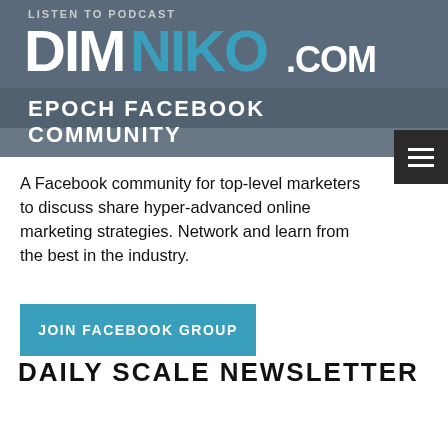[Figure (logo): DimNiko.com podcast logo on grey banner with LISTEN TO PODCAST text]
EPOCH FACEBOOK COMMUNITY
A Facebook community for top-level marketers to discuss share hyper-advanced online marketing strategies. Network and learn from the best in the industry.
JOIN FACEBOOK GROUP
DAILY SCALE NEWSLETTER
The Daily Scale newsletter is delivered directly to your inbox discussing top insights and strategies our agency uses every single day on our 7 figure DTC brands.
SUBSCRIBE TO DAILY SCALE